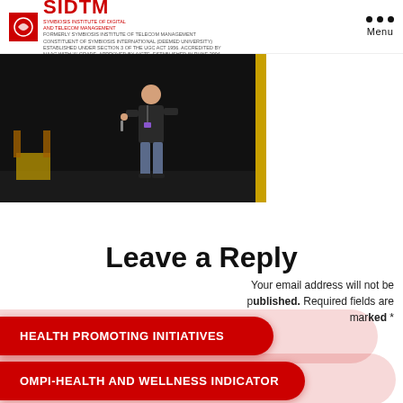SIDTM – Symbiosis Institute of Digital and Telecom Management
[Figure (photo): A speaker presenting on stage in a dark theatre, wearing a dark shirt and jeans, holding a microphone, with a chair visible in the background.]
Leave a Reply
Your email address will not be published. Required fields are marked *
HEALTH PROMOTING INITIATIVES
OMPI-HEALTH AND WELLNESS INDICATOR